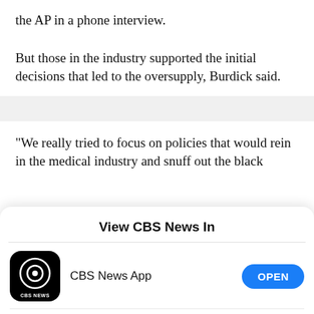the AP in a phone interview.
But those in the industry supported the initial decisions that led to the oversupply, Burdick said.
"We really tried to focus on policies that would rein in the medical industry and snuff out the black
[Figure (screenshot): Mobile app selection dialog titled 'View CBS News In' with two options: CBS News App with an OPEN button, and Safari with a CONTINUE button]